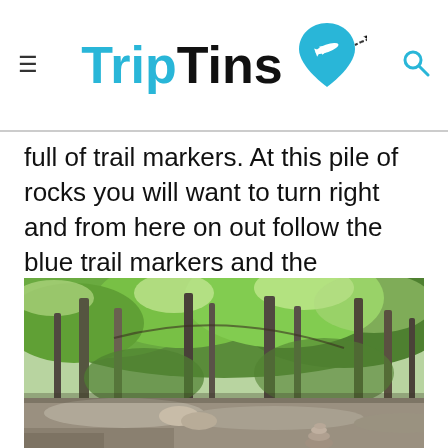TripTins
full of trail markers. At this pile of rocks you will want to turn right and from here on out follow the blue trail markers and the 1777/1779 trail markers.
[Figure (photo): Forest trail scene with tall trees, green leafy canopy, and a rocky path. A small cairn (stacked rocks) is visible in the foreground right.]